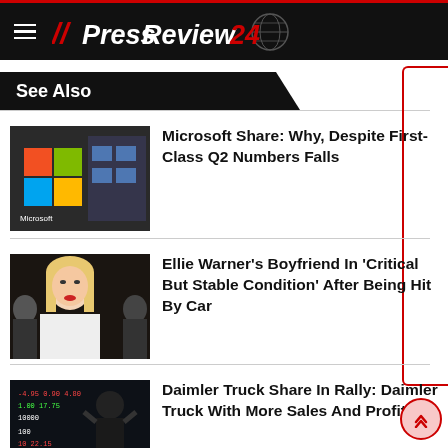PressReview24
See Also
[Figure (photo): Microsoft store with Microsoft logo (Windows squares) and display screens]
Microsoft Share: Why, Despite First-Class Q2 Numbers Falls
[Figure (photo): Blonde woman in white outfit smiling at camera event]
Ellie Warner's Boyfriend In 'Critical But Stable Condition' After Being Hit By Car
[Figure (photo): Person looking at financial stock market numbers board]
Daimler Truck Share In Rally: Daimler Truck With More Sales And Profit